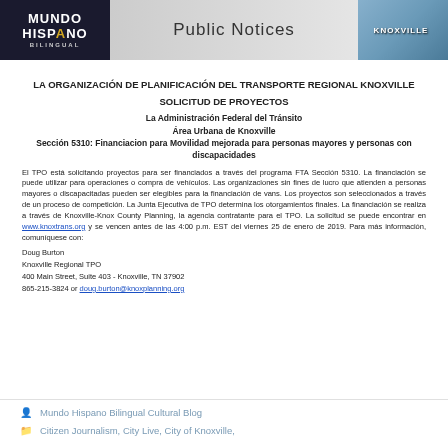[Figure (illustration): Mundo Hispano Bilingual newspaper banner with 'Public Notices' heading and Knoxville city background on the right side]
LA ORGANIZACIÓN DE PLANIFICACIÓN DEL TRANSPORTE REGIONAL KNOXVILLE
SOLICITUD DE PROYECTOS
La Administración Federal del Tránsito
Área Urbana de Knoxville
Sección 5310: Financiacion para Movilidad mejorada para personas mayores y personas con discapacidades
El TPO está solicitando proyectos para ser financiados a través del programa FTA Sección 5310. La financiación se puede utilizar para operaciones o compra de vehículos. Las organizaciones sin fines de lucro que atienden a personas mayores o discapacitadas pueden ser elegibles para la financiación de vans. Los proyectos son seleccionados a través de un proceso de competición. La Junta Ejecutiva de TPO determina los otorgamientos finales. La financiación se realiza a través de Knoxville-Knox County Planning, la agencia contratante para el TPO. La solicitud se puede encontrar en www.knoxtrans.org y se vencen antes de las 4:00 p.m. EST del viernes 25 de enero de 2019. Para más información, comuníquese con:
Doug Burton
Knoxville Regional TPO
400 Main Street, Suite 403 - Knoxville, TN 37902
865-215-3824 or doug.burton@knoxplanning.org
Mundo Hispano Bilingual Cultural Blog
Citizen Journalism, City Live, City of Knoxville,